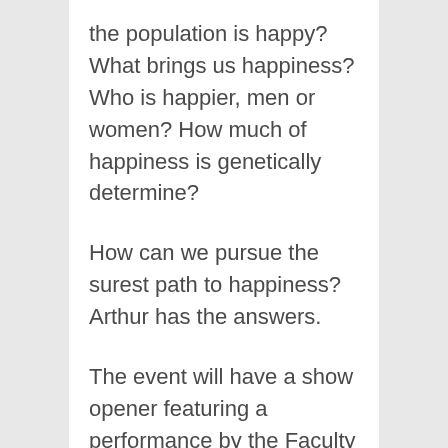the population is happy? What brings us happiness? Who is happier, men or women? How much of happiness is genetically determine?
How can we pursue the surest path to happiness? Arthur has the answers.
The event will have a show opener featuring a performance by the Faculty band: Indie Folk rock, including:
Mike Norton: vocals, guitar, bass